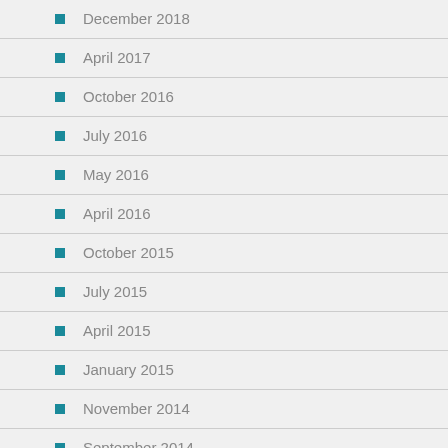December 2018
April 2017
October 2016
July 2016
May 2016
April 2016
October 2015
July 2015
April 2015
January 2015
November 2014
September 2014